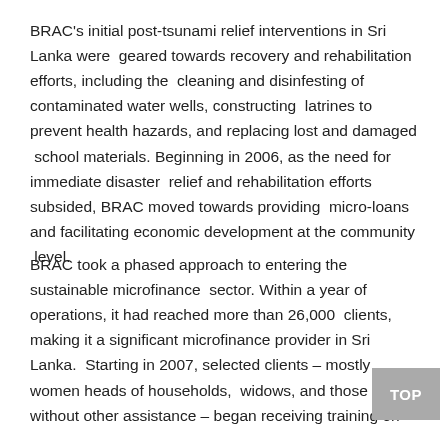BRAC's initial post-tsunami relief interventions in Sri Lanka were geared towards recovery and rehabilitation efforts, including the cleaning and disinfesting of contaminated water wells, constructing latrines to prevent health hazards, and replacing lost and damaged school materials. Beginning in 2006, as the need for immediate disaster relief and rehabilitation efforts subsided, BRAC moved towards providing micro-loans and facilitating economic development at the community level.
BRAC took a phased approach to entering the sustainable microfinance sector. Within a year of operations, it had reached more than 26,000 clients, making it a significant microfinance provider in Sri Lanka. Starting in 2007, selected clients – mostly women heads of households, widows, and those without other assistance – began receiving training on